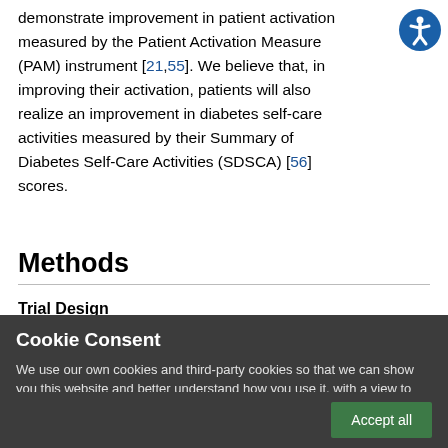demonstrate improvement in patient activation measured by the Patient Activation Measure (PAM) instrument [21,55]. We believe that, in improving their activation, patients will also realize an improvement in diabetes self-care activities measured by their Summary of Diabetes Self-Care Activities (SDSCA) [56] scores.
Methods
Trial Design
Cookie Consent
We use our own cookies and third-party cookies so that we can show you this website and better understand how you use it, with a view to improving the services we offer. If you continue browsing, we consider that you have accepted the cookies.